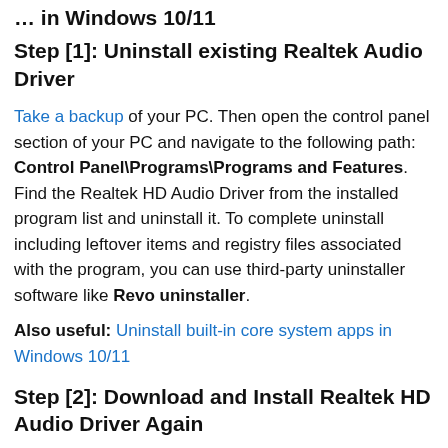... in Windows 10/11
Step [1]: Uninstall existing Realtek Audio Driver
Take a backup of your PC. Then open the control panel section of your PC and navigate to the following path: Control Panel\Programs\Programs and Features. Find the Realtek HD Audio Driver from the installed program list and uninstall it. To complete uninstall including leftover items and registry files associated with the program, you can use third-party uninstaller software like Revo uninstaller.
Also useful: Uninstall built-in core system apps in Windows 10/11
Step [2]: Download and Install Realtek HD Audio Driver Again
Navigate to the official website of Realtek